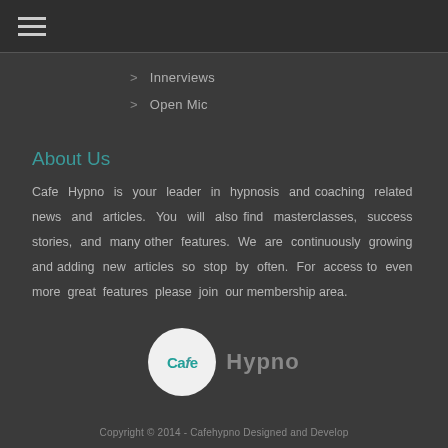☰ (hamburger menu)
> Innerviews
> Open Mic
About Us
Cafe Hypno is your leader in hypnosis and coaching related news and articles. You will also find masterclasses, success stories, and many other features. We are continuously growing and adding new articles so stop by often. For access to even more great features please join our membership area.
[Figure (logo): Cafe Hypno logo: white circle with 'CaHe' in teal and 'Hypno' in grey text beside it]
Copyright © 2014 - Cafehypno Designed and Develop